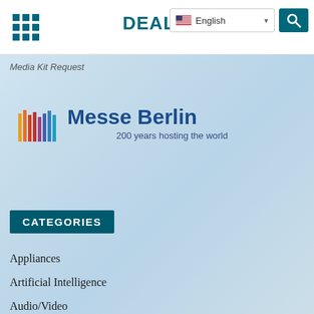DEALERSCOPE
Media Kit Request
[Figure (logo): Messe Berlin logo with colored vertical bars and text 'Messe Berlin' and tagline '200 years hosting the world']
CATEGORIES
Appliances
Artificial Intelligence
Audio/Video
Business News
CE Retail
Computers
Digital Health & Wellness